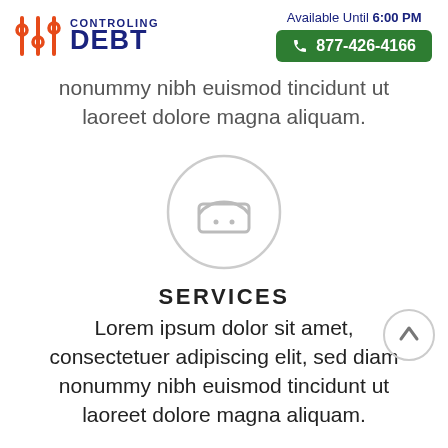[Figure (logo): Controlling Debt logo with orange slider icon and navy blue text]
Available Until 6:00 PM
877-426-4166
nonummy nibh euismod tincidunt ut laoreet dolore magna aliquam.
[Figure (illustration): Circle with inbox/tray icon in grey outline style]
SERVICES
Lorem ipsum dolor sit amet, consectetuer adipiscing elit, sed diam nonummy nibh euismod tincidunt ut laoreet dolore magna aliquam.
[Figure (other): Circle scroll-to-top button with upward arrow]